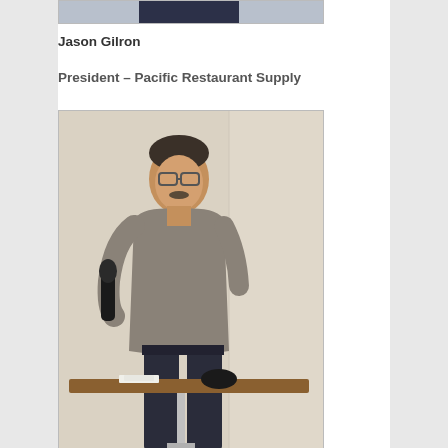[Figure (photo): Top portion of a photo showing a person, cropped at the top of the page]
Jason Gilron
President – Pacific Restaurant Supply
[Figure (photo): Photo of Jason Gilron, a man wearing glasses and a gray sweater, holding a microphone and standing at a tall table/podium in a room with light-colored walls]